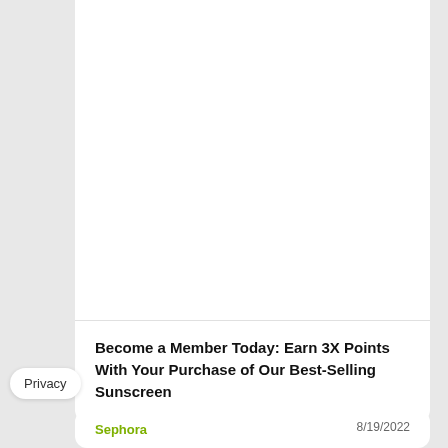[Figure (other): White card area with image placeholder (blank white space above a horizontal divider line)]
Become a Member Today: Earn 3X Points With Your Purchase of Our Best-Selling Sunscreen
Privacy
Sephora
8/19/2022